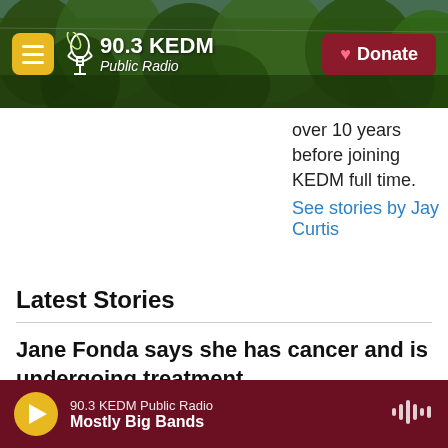[Figure (screenshot): 90.3 KEDM Public Radio website header with green forest background, yellow hamburger menu button on left, KEDM logo with microphone icon in center, and dark red Donate button with heart icon on right]
over 10 years before joining KEDM full time.
See stories by Jay Curtis
Latest Stories
Jane Fonda says she has cancer and is undergoing treatment
90.3 KEDM Public Radio | Mostly Big Bands